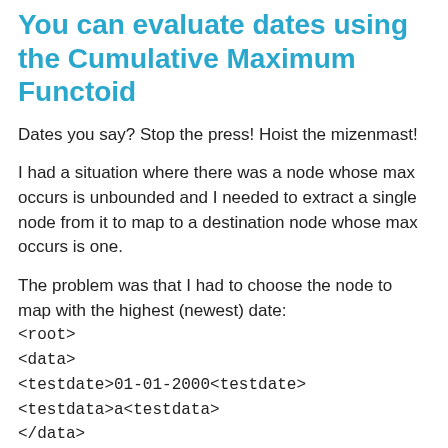You can evaluate dates using the Cumulative Maximum Functoid
Dates you say? Stop the press! Hoist the mizenmast!
I had a situation where there was a node whose max occurs is unbounded and I needed to extract a single node from it to map to a destination node whose max occurs is one.
The problem was that I had to choose the node to map with the highest (newest) date:
<root>
<data>
<testdate>01-01-2000<testdate>
<testdata>a<testdata>
</data>
<data>
<testdate>01-01-2002<testdate>
<testdata>c<testdata>
</data>
<data>
<testdate>01-01-2001<testdate>